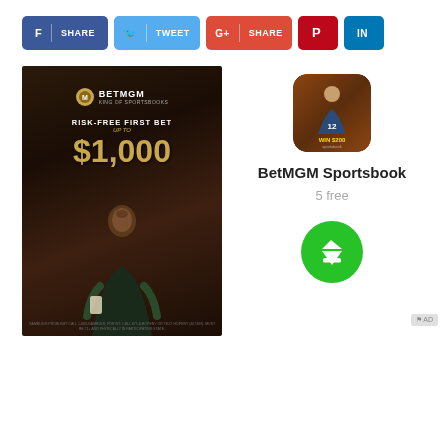[Figure (screenshot): Social share bar with buttons: Facebook SHARE (blue), Twitter TWEET (cyan), Google+ SHARE (red-orange), Pinterest (dark red), LinkedIn (blue)]
[Figure (advertisement): BetMGM Sportsbook advertisement poster showing Risk-Free First Bet up to $1,000 with a man in a suit holding a phone on dark background]
[Figure (screenshot): BetMGM Sportsbook app icon showing a football player with text WIN $200]
BetMGM Sportsbook
5 free
[Figure (other): Green circular download button with white downward arrow]